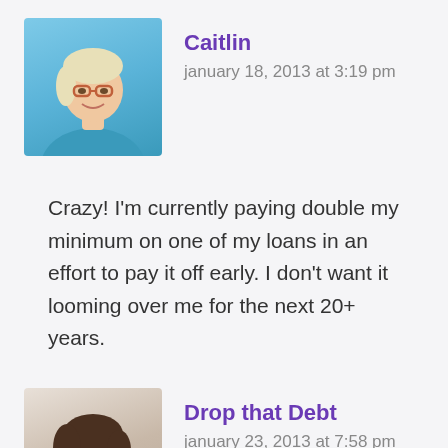Caitlin
january 18, 2013 at 3:19 pm
Crazy! I'm currently paying double my minimum on one of my loans in an effort to pay it off early. I don't want it looming over me for the next 20+ years.
Drop that Debt
january 23, 2013 at 7:58 pm
Wow. No idea about how the UK debts worked. That's really interesting! And what a strange thing for someone to advise? Your